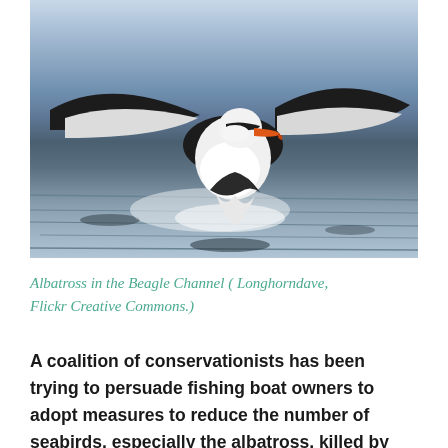[Figure (photo): Photograph of an albatross landing on or taking off from the water surface in the Beagle Channel, wings fully spread, dark on top and white underneath, orange beak visible, water splashing around it.]
Albatross in the Beagle Channel ( Longhorndave, Flickr Creative Commons.)
A coalition of conservationists has been trying to persuade fishing boat owners to adopt measures to reduce the number of seabirds, especially the albatross, killed by the long fishing lines of the tuna fleet